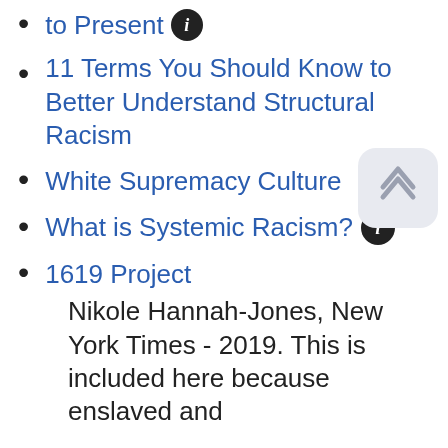to Present [icon]
11 Terms You Should Know to Better Understand Structural Racism
White Supremacy Culture
What is Systemic Racism? [info icon]
1619 Project
Nikole Hannah-Jones, New York Times - 2019. This is included here because enslaved and